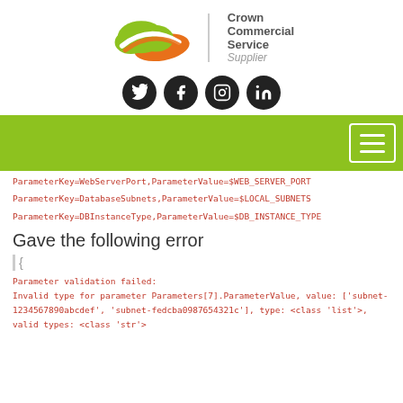[Figure (logo): Crown Commercial Service Supplier logo with green and orange cloud graphic and vertical divider line]
[Figure (infographic): Row of four black circular social media icons: Twitter, Facebook, Instagram, LinkedIn]
[Figure (other): Green navigation bar with white hamburger menu button on the right]
ParameterKey=WebServerPort,ParameterValue=$WEB_SERVER_PORT
ParameterKey=DatabaseSubnets,ParameterValue=$LOCAL_SUBNETS
ParameterKey=DBInstanceType,ParameterValue=$DB_INSTANCE_TYPE
Gave the following error
Parameter validation failed:
Invalid type for parameter Parameters[7].ParameterValue, value: ['subnet-1234567890abcdef', 'subnet-fedcba0987654321c'], type: <class 'list'>, valid types: <class 'str'>